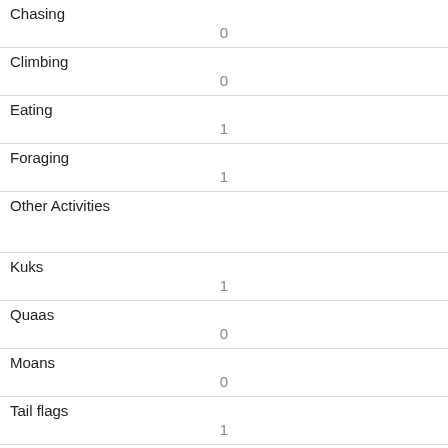| Activity | Value |
| --- | --- |
| Chasing | 0 |
| Climbing | 0 |
| Eating | 1 |
| Foraging | 1 |
| Other Activities |  |
| Kuks | 1 |
| Quaas | 0 |
| Moans | 0 |
| Tail flags | 1 |
| Tail twitches | 0 |
| Approaches |  |